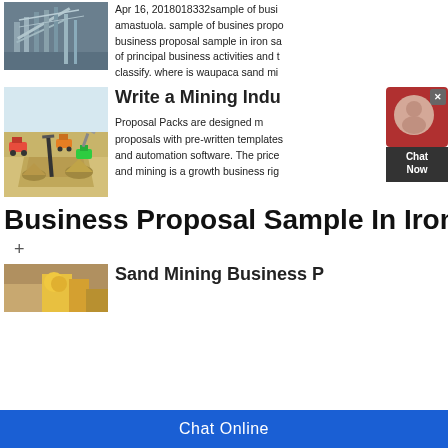[Figure (photo): Industrial mining structure with metal framework, top-left]
Apr 16, 2018018332sample of business amastuola. sample of busines proposal business proposal sample in iron sa of principal business activities and t classify. where is waupaca sand mi
[Figure (illustration): 3D isometric illustration of an open-pit mine with trucks, conveyor belts, excavators and ore piles]
Write a Mining Indu
Proposal Packs are designed proposals with pre-written templates and automation software. The price and mining is a growth business rig
[Figure (screenshot): Chat Now widget with red speech bubble icon and dark Chat Now box]
Business Proposal Sample In Iron
+
[Figure (photo): Sand mining machinery photo, partially visible]
Sand Mining Business P
Chat Online